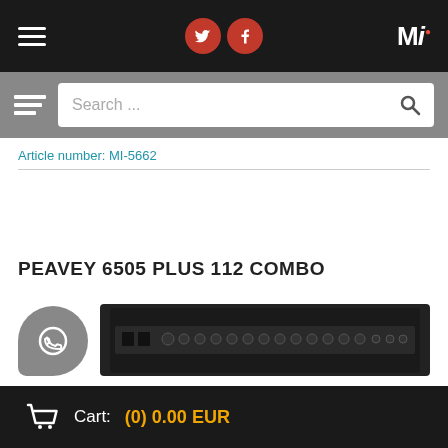MI (logo with social icons and hamburger menu)
Article number: MI-5662
PEAVEY 6505 PLUS 112 COMBO
[Figure (photo): Peavey 6505 Plus 112 Combo guitar amplifier, black, front panel visible with knobs and controls.]
Cart: (0) 0.00 EUR